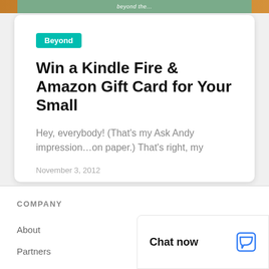[Figure (illustration): Top banner with brown/orange border and green center strip with cursive text]
Beyond
Win a Kindle Fire & Amazon Gift Card for Your Small
Hey, everybody! (That's my Ask Andy impression…on paper.) That's right, my
November 3, 2012
COMPANY
About
Chat now